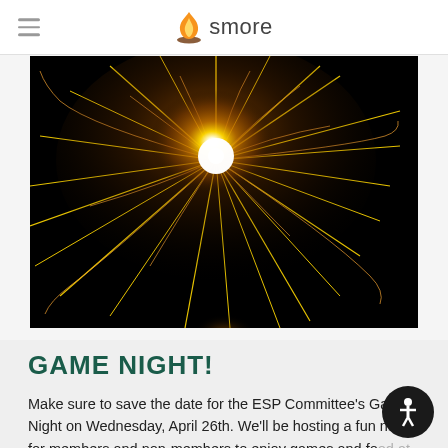smore
[Figure (photo): Close-up photograph of a sparkler against a dark black background, with bright golden sparks radiating outward from a central glowing point.]
GAME NIGHT!
Make sure to save the date for the ESP Committee's Game Night on Wednesday, April 26th. We'll be hosting a fun night for members and non-members to enjoy games and food at the IEA building. We'll have more information available